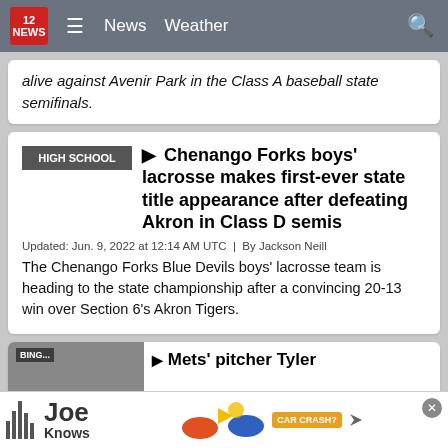12 NEWS | News | Weather
alive against Avenir Park in the Class A baseball state semifinals.
Chenango Forks boys' lacrosse makes first-ever state title appearance after defeating Akron in Class D semis
Updated: Jun. 9, 2022 at 12:14 AM UTC  |  By Jackson Neill
The Chenango Forks Blue Devils boys' lacrosse team is heading to the state championship after a convincing 20-13 win over Section 6's Akron Tigers.
Mets' pitcher Tyler ...